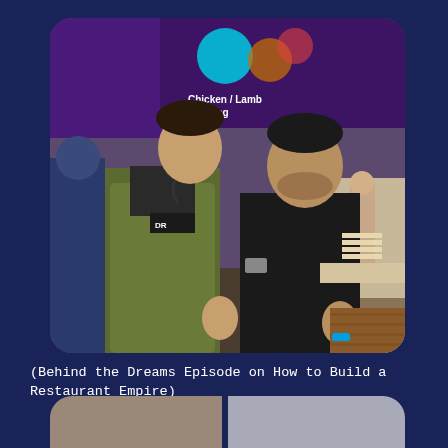[Figure (photo): Two men standing in a fast food restaurant interior giving thumbs up. The man on the left wears a green bomber jacket over a black t-shirt. The man on the right wears a black long-sleeve top. Behind them is a purple digital menu board showing 'Chicken / Lamb or Veg' text.]
(Behind the Dreams Episode on How to Build a Restaurant Empire)
[Figure (photo): Partial view of two people at the bottom of the page, partially cropped.]